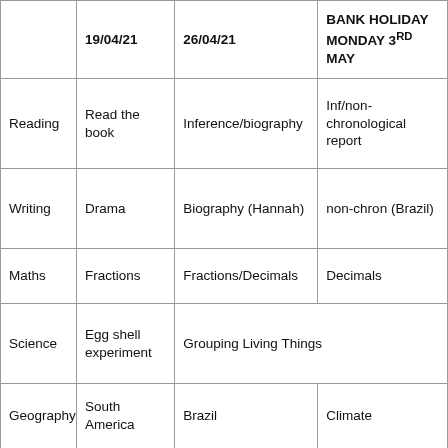|  | 19/04/21 | 26/04/21 | BANK HOLIDAY MONDAY 3RD MAY |
| --- | --- | --- | --- |
| Reading | Read the book | Inference/biography | Inf/non-chronological report |
| Writing | Drama | Biography (Hannah) | non-chron (Brazil) |
| Maths | Fractions | Fractions/Decimals | Decimals |
| Science | Egg shell experiment | Grouping Living Things |  |
| Geography | South America | Brazil | Climate |